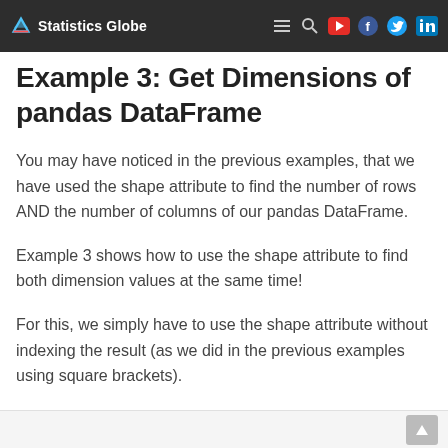Statistics Globe
Example 3: Get Dimensions of pandas DataFrame
You may have noticed in the previous examples, that we have used the shape attribute to find the number of rows AND the number of columns of our pandas DataFrame.
Example 3 shows how to use the shape attribute to find both dimension values at the same time!
For this, we simply have to use the shape attribute without indexing the result (as we did in the previous examples using square brackets).